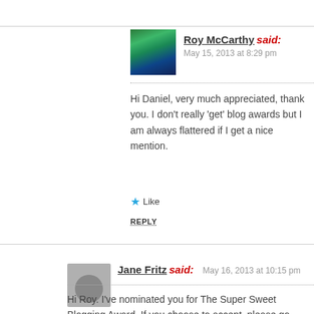Roy McCarthy said: May 15, 2013 at 8:29 pm
Hi Daniel, very much appreciated, thank you. I don't really 'get' blog awards but I am always flattered if I get a nice mention.
Like
REPLY
Jane Fritz said: May 16, 2013 at 10:15 pm
Hi Roy. I've nominated you for The Super Sweet Blogging Award. If you choose to accept, please go here:
http://robbyrobinsjourney.wordpress.com/2013/05/16/the-super-sweet-blogging-award/
Like
REPLY